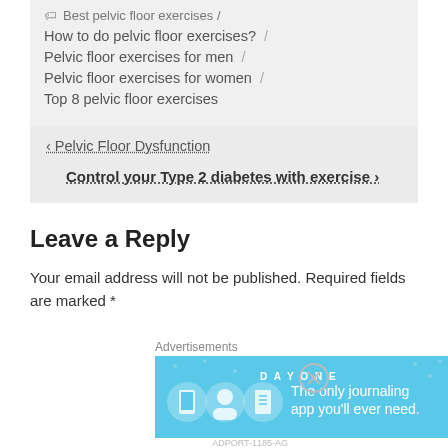🏷 Best pelvic floor exercises /
How to do pelvic floor exercises? /
Pelvic floor exercises for men /
Pelvic floor exercises for women /
Top 8 pelvic floor exercises
< Pelvic Floor Dysfunction
Control your Type 2 diabetes with exercise >
Leave a Reply
Your email address will not be published. Required fields are marked *
Advertisements
[Figure (illustration): DAY ONE journaling app advertisement banner with blue background, app icons, and text 'The only journaling app you'll ever need.']